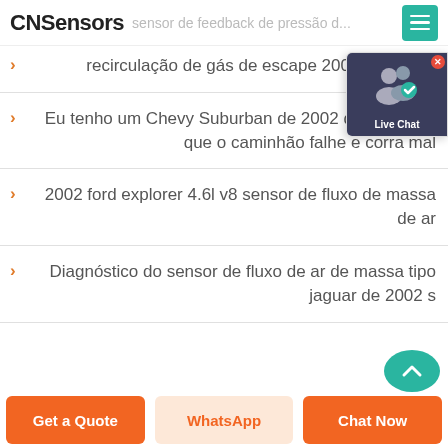CNSensors - sensor de feedback de pressão de recirculação de gás de escape 2002 ford e250
recirculação de gás de escape 2002 ford e250
Eu tenho um Chevy Suburban de 2002 que faz com que o caminhão falhe e corra mal
2002 ford explorer 4.6l v8 sensor de fluxo de massa de ar
Diagnóstico do sensor de fluxo de ar de massa tipo jaguar de 2002 s